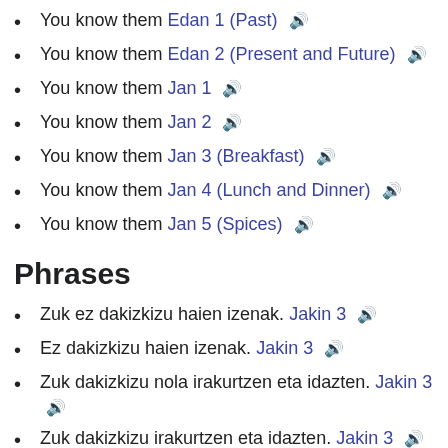You know them Edan 1 (Past) 🔊
You know them Edan 2 (Present and Future) 🔊
You know them Jan 1 🔊
You know them Jan 2 🔊
You know them Jan 3 (Breakfast) 🔊
You know them Jan 4 (Lunch and Dinner) 🔊
You know them Jan 5 (Spices) 🔊
Phrases
Zuk ez dakizkizu haien izenak. Jakin 3 🔊
Ez dakizkizu haien izenak. Jakin 3 🔊
Zuk dakizkizu nola irakurtzen eta idazten. Jakin 3 🔊
Zuk dakizkizu irakurtzen eta idazten. Jakin 3 🔊
Dakizkizu nola irakurtzen eta idazten. Jakin 3 🔊
Dakizkizu irakurtzen eta idazten. Jakin 3 🔊